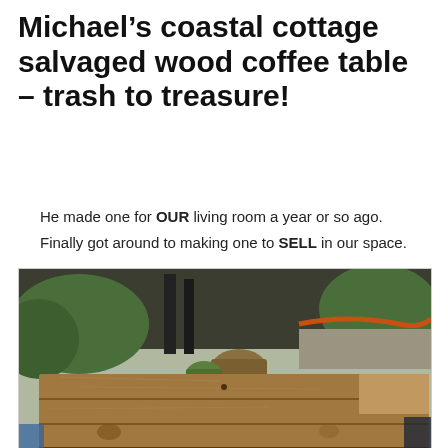Michael's coastal cottage salvaged wood coffee table – trash to treasure!
He made one for OUR living room a year or so ago. Finally got around to making one to SELL in our space.
[Figure (photo): Outdoor photo of a rustic salvaged wood coffee table with plank top, sitting on the ground with green plants and garden items visible in the background.]